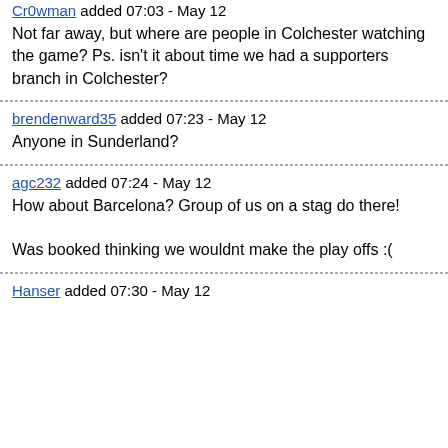Cr0wman added 07:03 - May 12
Not far away, but where are people in Colchester watching the game? Ps. isn't it about time we had a supporters branch in Colchester?
brendenward35 added 07:23 - May 12
Anyone in Sunderland?
agc232 added 07:24 - May 12
How about Barcelona? Group of us on a stag do there!

Was booked thinking we wouldnt make the play offs :(
Hanser added 07:30 - May 12